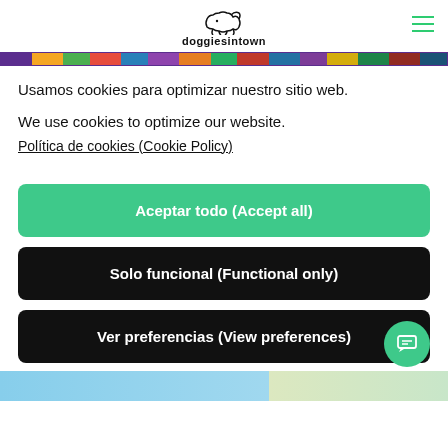doggiesintown
[Figure (illustration): Colorful banner strip with dog-related imagery at the top of the page]
Usamos cookies para optimizar nuestro sitio web.
We use cookies to optimize our website.
Política de cookies (Cookie Policy)
Aceptar todo (Accept all)
Solo funcional (Functional only)
Ver preferencias (View preferences)